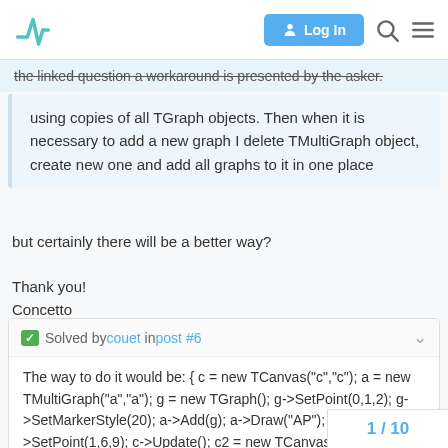Log In (navigation bar with logo)
the linked question a workaround is presented by the asker.
using copies of all TGraph objects. Then when it is necessary to add a new graph I delete TMultiGraph object, create new one and add all graphs to it in one place
but certainly there will be a better way?
Thank you!
Concetto
Solved by couet in post #6
The way to do it would be: { c = new TCanvas("c","c"); a = new TMultiGraph("a","a"); g = new TGraph(); g->SetPoint(0,1,2); g->SetMarkerStyle(20); a->Add(g); a->Draw("AP"); g->SetPoint(1,6,9); c->Update(); c2 = new TCanvas("c2","c2"); g->SetPoint(2,6,20...
1 / 10